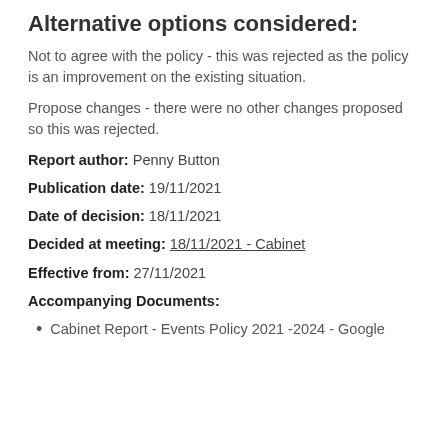Alternative options considered:
Not to agree with the policy - this was rejected as the policy is an improvement on the existing situation.
Propose changes - there were no other changes proposed so this was rejected.
Report author: Penny Button
Publication date: 19/11/2021
Date of decision: 18/11/2021
Decided at meeting: 18/11/2021 - Cabinet
Effective from: 27/11/2021
Accompanying Documents:
Cabinet Report - Events Policy 2021 -2024 - Google